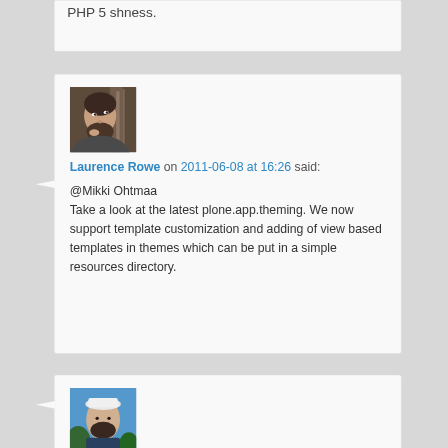PHP 5 shness.
@Mikki Ohtmaa
Take a look at the latest plone.app.theming. We now support template customization and adding of view based templates in themes which can be put in a simple resources directory.
Laurence Rowe on 2011-06-08 at 16:26 said:
[Figure (photo): Avatar photo of Laurence Rowe - bearded man looking upward]
[Figure (photo): Avatar photo of another commenter - man with white hat]